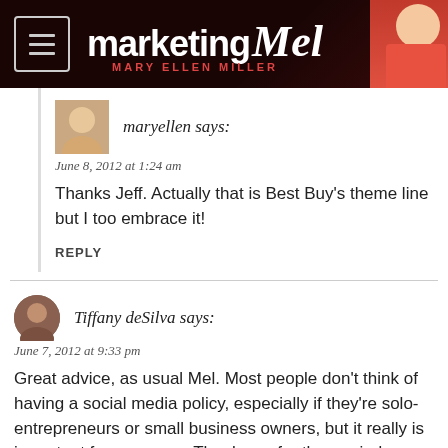[Figure (logo): Marketing Mel - Mary Ellen Miller website header banner with logo and photo]
maryellen says:
June 8, 2012 at 1:24 am
Thanks Jeff. Actually that is Best Buy's theme line but I too embrace it!
REPLY
Tiffany deSilva says:
June 7, 2012 at 9:33 pm
Great advice, as usual Mel. Most people don't think of having a social media policy, especially if they're solo-entrepreneurs or small business owners, but it really is important for everyone. Thank you for the reminder.